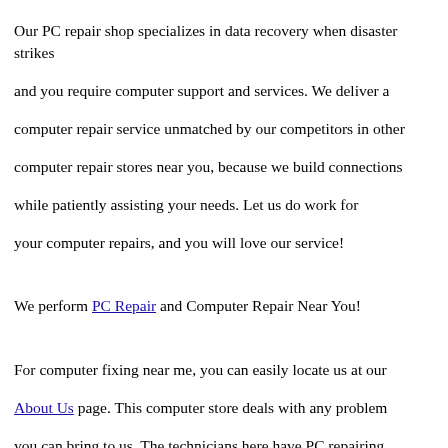Our PC repair shop specializes in data recovery when disaster strikes and you require computer support and services. We deliver a computer repair service unmatched by our competitors in other computer repair stores near you, because we build connections while patiently assisting your needs. Let us do work for your computer repairs, and you will love our service!
We perform PC Repair and Computer Repair Near You!
For computer fixing near me, you can easily locate us at our About Us page. This computer store deals with any problem you can bring to us. The technicians here have PC repairing skills, with communication skills patient enough to comfortably support you with your computer repair issues.
Computer service at the King Repairs helps you with